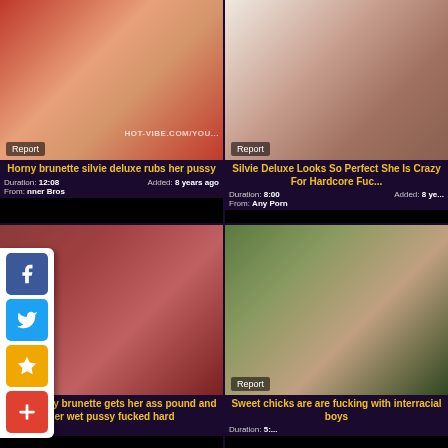[Figure (screenshot): Video thumbnail grid showing adult content website with 4 video thumbnails in 2x2 layout with titles, durations, and social share buttons overlay]
Horny brunette silvie deluxe rubs her pussy
Duration: 12:08   Added: 8 years ago
Silvie Deluxe Looks So Perfect She Is Crazy For Hardcore Fuc...
Duration: 8:00   Added: 8 ye...   From: Any Porn
Sexy nasty brunette gets her ass pound and her wet pussy fucked hard
Sweet chicks are are fucking with interracial boys